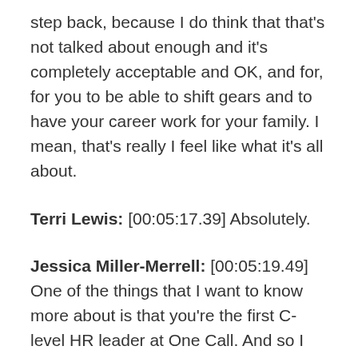step back, because I do think that that's not talked about enough and it's completely acceptable and OK, and for, for you to be able to shift gears and to have your career work for your family. I mean, that's really I feel like what it's all about.
Terri Lewis: [00:05:17.39] Absolutely.
Jessica Miller-Merrell: [00:05:19.49] One of the things that I want to know more about is that you're the first C-level HR leader at One Call. And so I have lots of questions. But let's start with this one. What was the biggest challenge in your first few months on the job?